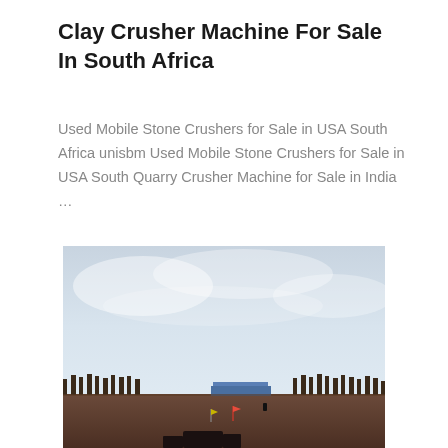Clay Crusher Machine For Sale In South Africa
Used Mobile Stone Crushers for Sale in USA South Africa unisbm Used Mobile Stone Crushers for Sale in USA South Quarry Crusher Machine for Sale in India …
[Figure (photo): Outdoor industrial site photo showing a flat open landscape with a pale overcast sky, scattered bare trees on the horizon, a blue structure in the background, and small red and yellow flags visible on dark reddish-brown ground in the foreground.]